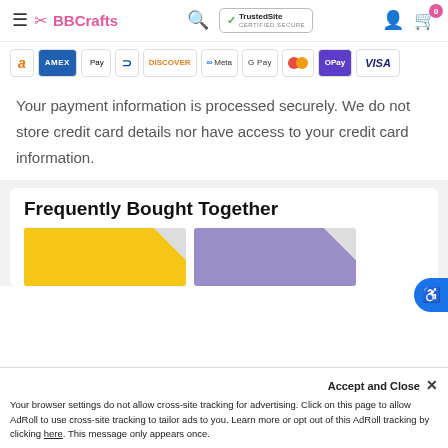BBCrafts - TrustedSite Certified Secure
[Figure (other): Payment method icons: Amazon, Amex, Apple Pay, Diners, Discover, Meta, Google Pay, Mastercard, OPay, Visa]
Your payment information is processed securely. We do not store credit card details nor have access to your credit card information.
Frequently Bought Together
[Figure (photo): Two product images side by side: yellow fabric and purple fabric]
Accept and Close ×
Your browser settings do not allow cross-site tracking for advertising. Click on this page to allow AdRoll to use cross-site tracking to tailor ads to you. Learn more or opt out of this AdRoll tracking by clicking here. This message only appears once.